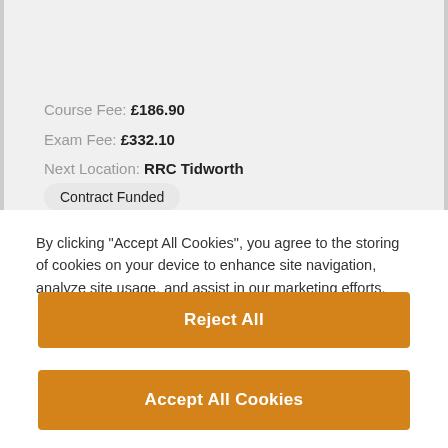Course Fee: £186.90
Exam Fee: £332.10
Next Location: RRC Tidworth
Contract Funded
By clicking "Accept All Cookies", you agree to the storing of cookies on your device to enhance site navigation, analyze site usage, and assist in our marketing efforts.
Cookies Settings
Reject All
Accept All Cookies